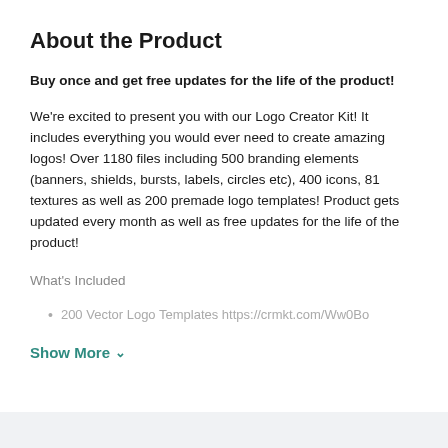About the Product
Buy once and get free updates for the life of the product!
We're excited to present you with our Logo Creator Kit! It includes everything you would ever need to create amazing logos! Over 1180 files including 500 branding elements (banners, shields, bursts, labels, circles etc), 400 icons, 81 textures as well as 200 premade logo templates! Product gets updated every month as well as free updates for the life of the product!
What's Included
200 Vector Logo Templates https://crmkt.com/Ww0Bo
Show More ∨